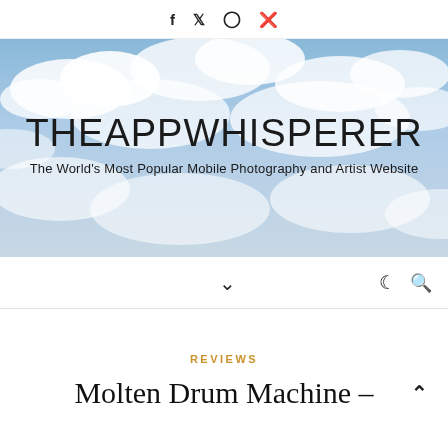f  Twitter  Instagram  Pinterest
[Figure (photo): Sky with clouds background banner featuring site title THEAPPWHISPERER and subtitle The World's Most Popular Mobile Photography and Artist Website]
Navigation bar with chevron down icon, moon/dark-mode icon, and search icon
REVIEWS
Molten Drum Machine –